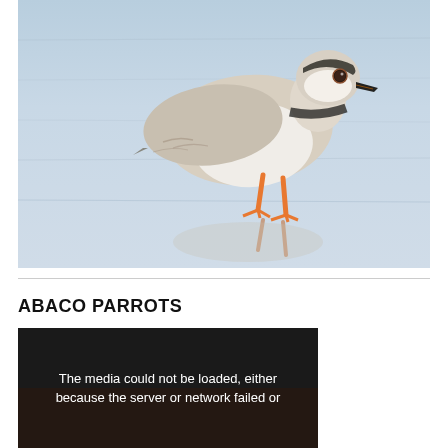[Figure (photo): A small shorebird (piping plover) with sandy-brown and white plumage, orange legs, and a small dark beak, standing on a wet reflective surface (shallow water or wet sand). The bird's reflection is visible below it. Background is pale blue-gray water with subtle ripples.]
ABACO PARROTS
[Figure (screenshot): A video player thumbnail with dark/black background showing partial trees or foliage at the bottom. A centered white text message reads: 'The media could not be loaded, either because the server or network failed or']